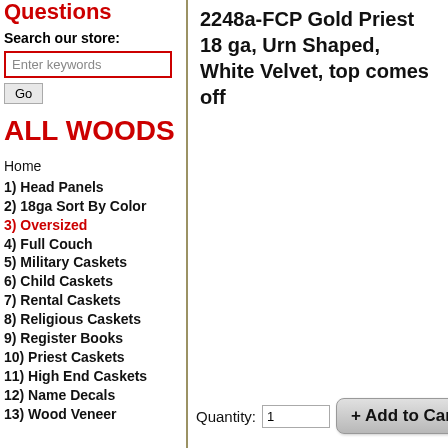Questions
Search our store:
Enter keywords
ALL WOODS
Home
1) Head Panels
2) 18ga Sort By Color
3) Oversized
4) Full Couch
5) Military Caskets
6) Child Caskets
7) Rental Caskets
8) Religious Caskets
9) Register Books
10) Priest Caskets
11) High End Caskets
12) Name Decals
13) Wood Veneer
2248a-FCP Gold Priest 18 ga, Urn Shaped, White Velvet, top comes off
Quantity: 1
+ Add to Cart